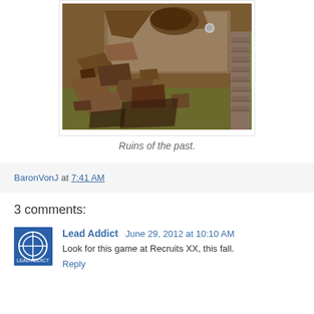[Figure (photo): Close-up photograph of a destroyed/ruined military tank model or diorama, showing damaged armor plating with debris, rubble, and broken pieces scattered around. The model sits on a green base suggesting terrain.]
Ruins of the past.
BaronVonJ at 7:41 AM
3 comments:
Lead Addict June 29, 2012 at 10:10 AM
Look for this game at Recruits XX, this fall.
Reply